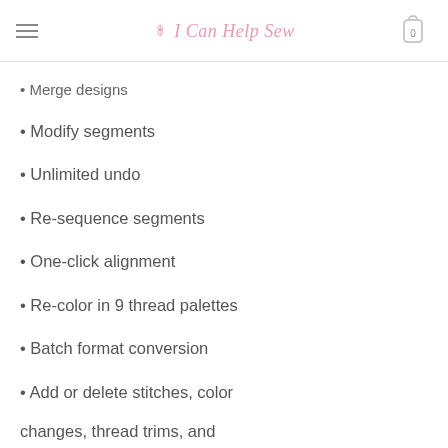I Can Help Sew
350 pattern fill stitches
Merge designs
Modify segments
Unlimited undo
Re-sequence segments
One-click alignment
Re-color in 9 thread palettes
Batch format conversion
Add or delete stitches, color
changes, thread trims, and